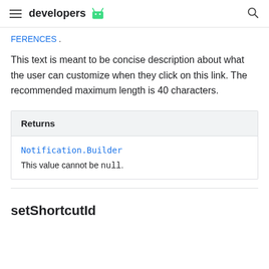developers
FERENCES .
This text is meant to be concise description about what the user can customize when they click on this link. The recommended maximum length is 40 characters.
| Returns |
| --- |
| Notification.Builder |
| This value cannot be null. |
setShortcutId